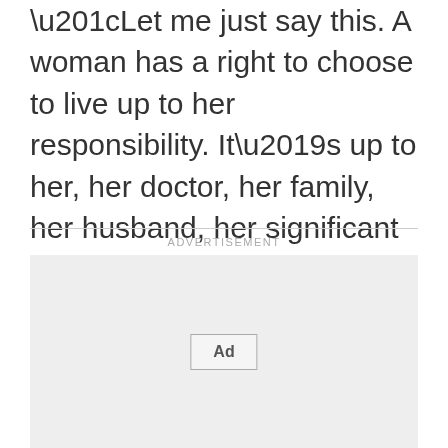“Let me just say this. A woman has a right to choose to live up to her responsibility. It’s up to her, her doctor, her family, her husband, her significant other and her God. This talk of politicizing all of this, I think, is something uniquely American and not right,” the California Democrat said at her weekly press conference.
[Figure (other): Advertisement placeholder box with 'Ad' button label]